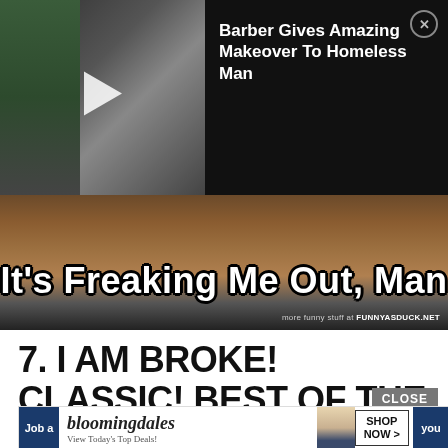[Figure (screenshot): Video thumbnail of barber shop scene with play button overlay]
Barber Gives Amazing Makeover To Homeless Man
[Figure (photo): Meme image with blurred background and bold white text reading 'It's Freaking Me Out, Man' with watermark 'more funny stuff at FUNNYASDUCK.NET']
7. I AM BROKE! CLASSIC! BEST OF THE MEME COLLECTION LIST
CLOSE
[Figure (screenshot): Bloomingdale's advertisement banner with model wearing wide-brim hat, logo, 'View Today's Top Deals!' text, and 'SHOP NOW >' button]